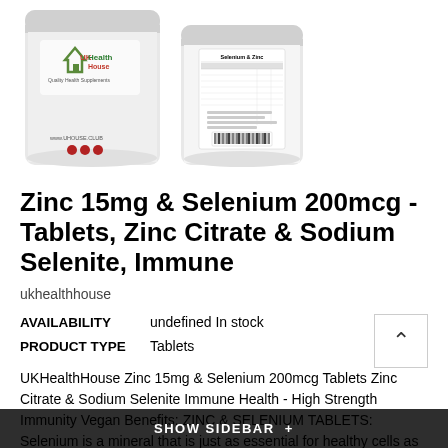[Figure (photo): Two product photos: front of UKHealthHouse supplement bag showing logo and branding, and back of bag showing nutrition label and barcode]
Zinc 15mg & Selenium 200mcg - Tablets, Zinc Citrate & Sodium Selenite, Immune
ukhealthhouse
AVAILABILITY   undefined In stock
PRODUCT TYPE   Tablets
UKHealthHouse Zinc 15mg & Selenium 200mcg Tablets Zinc Citrate & Sodium Selenite Immune Health - High Strength Immunity Vegan Benefits: ZINC & SELENIUM TABLETS: Selenium is a mineral that is just as essential for healthy cells as zinc. Combining these two minerals together can help in the growth of hair, skin and nails...
SHOW SIDEBAR +